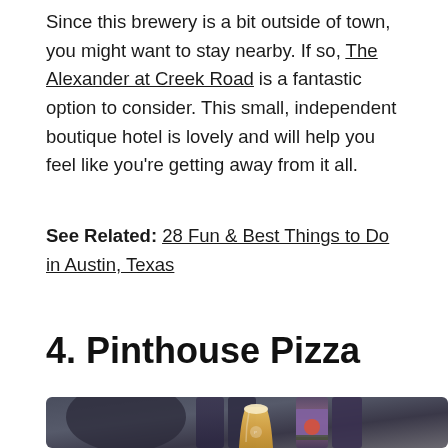Since this brewery is a bit outside of town, you might want to stay nearby. If so, The Alexander at Creek Road is a fantastic option to consider. This small, independent boutique hotel is lovely and will help you feel like you're getting away from it all.
See Related: 28 Fun & Best Things to Do in Austin, Texas
4. Pinthouse Pizza
[Figure (photo): Photo of Pinthouse Pizza beer cans and a glass of craft beer, partially visible at bottom of page]